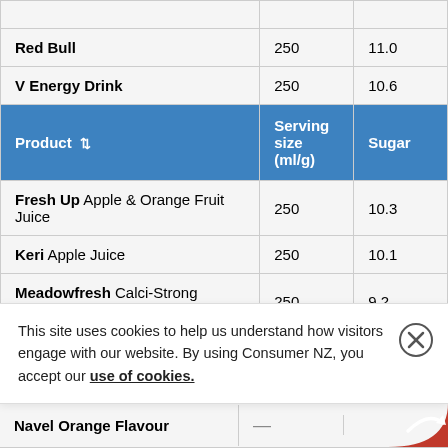| Product | Serving size (ml/g) | Sugar |
| --- | --- | --- |
| Red Bull | 250 | 11.0 |
| V Energy Drink | 250 | 10.6 |
| Fresh Up Apple & Orange Fruit Juice | 250 | 10.3 |
| Keri Apple Juice | 250 | 10.1 |
| Meadowfresh Calci-Strong Chocolate Milk | 250 | 9.2 |
| Navel Orange Flavour | ... |  |
This site uses cookies to help us understand how visitors engage with our website. By using Consumer NZ, you accept our use of cookies.